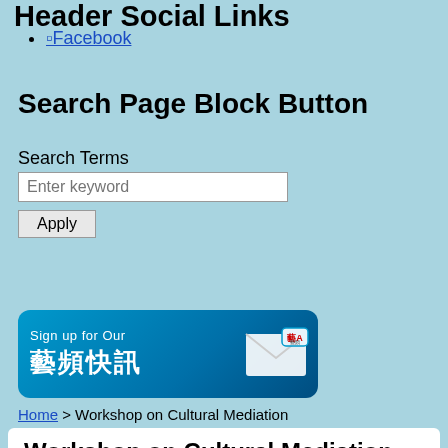Header Social Links
Facebook
Search Page Block Button
Search Terms
Enter keyword
Apply
[Figure (illustration): Sign up for Our newsletter banner in blue with Chinese characters 藝頻快訊 and an envelope graphic]
Home > Workshop on Cultural Mediation
Workshop on Cultural Mediation